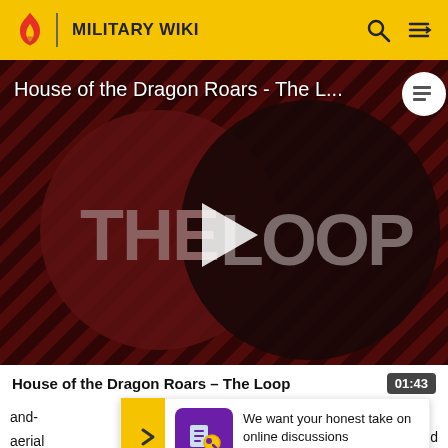MILITARY WIKI
[Figure (screenshot): Video thumbnail for 'House of the Dragon Roars - The Loop' showing diagonal striped dark red background with 'THE LOOP' text and a play button in the center circle]
House of the Dragon Roars - The Loop  01:43
and- aerial not fi
[Figure (infographic): Survey banner: We want your honest take on online discussions. SURVEY: ONLINE FORUMS]
did